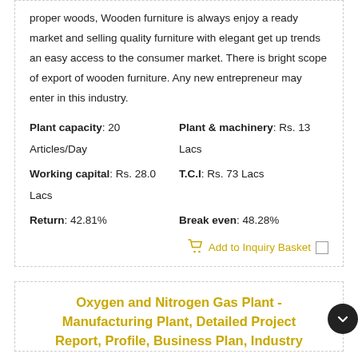proper woods, Wooden furniture is always enjoy a ready market and selling quality furniture with elegant get up trends an easy access to the consumer market. There is bright scope of export of wooden furniture. Any new entrepreneur may enter in this industry.
Plant capacity: 20 Articles/Day    Plant & machinery: Rs. 13 Lacs
Working capital: Rs. 28.0 Lacs    T.C.I: Rs. 73 Lacs
Return: 42.81%    Break even: 48.28%
Add to Inquiry Basket
Oxygen and Nitrogen Gas Plant - Manufacturing Plant, Detailed Project Report, Profile, Business Plan, Industry...